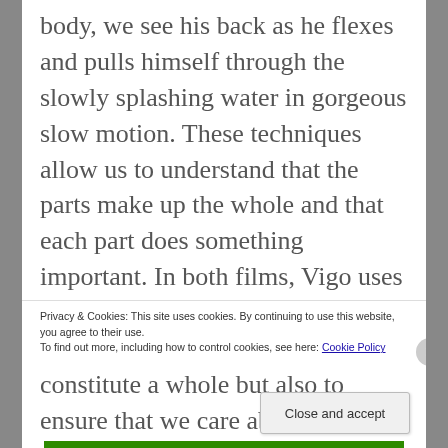body, we see his back as he flexes and pulls himself through the slowly splashing water in gorgeous slow motion. These techniques allow us to understand that the parts make up the whole and that each part does something important. In both films, Vigo uses anatomization and slow motion to not only show us the details that constitute a whole but also to ensure that we care about each detail as much as the next. What does
Privacy & Cookies: This site uses cookies. By continuing to use this website, you agree to their use.
To find out more, including how to control cookies, see here: Cookie Policy
Close and accept